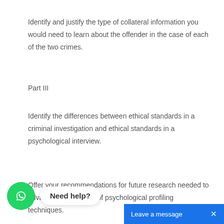Identify and justify the type of collateral information you would need to learn about the offender in the case of each of the two crimes.
Part III
Identify the differences between ethical standards in a criminal investigation and ethical standards in a psychological interview.
Offer your recommendations for future research needed to advance the research of psychological profiling techniques.